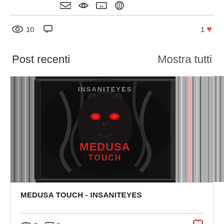social share icons (partial, cropped at top)
10 views, 0 comments, 1 like
Post recenti
Mostra tutti
[Figure (photo): CD album cover of MEDUSA TOUCH - INSANITEYES, dark gothic artwork with a face surrounded by serpents/tentacles and red glowing eyes, on a background of shelved CDs/records]
MEDUSA TOUCH - INSANITEYES
5 views, 0 comments, heart icon